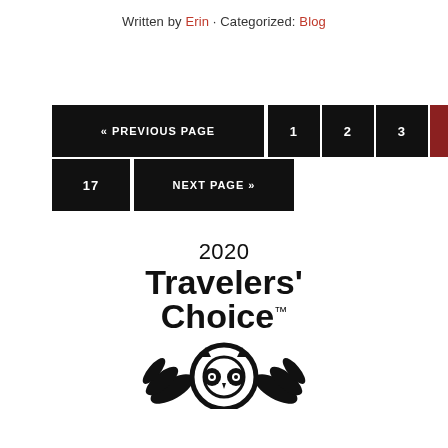Written by Erin · Categorized: Blog
[Figure (other): Pagination navigation: « PREVIOUS PAGE, pages 1 2 3 4(active/highlighted) 5 6 ..., 17, NEXT PAGE »]
[Figure (logo): TripAdvisor 2020 Travelers' Choice logo with owl icon]